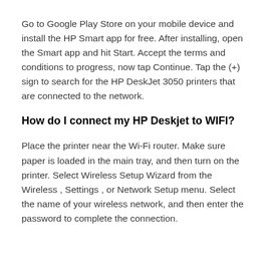Go to Google Play Store on your mobile device and install the HP Smart app for free. After installing, open the Smart app and hit Start. Accept the terms and conditions to progress, now tap Continue. Tap the (+) sign to search for the HP DeskJet 3050 printers that are connected to the network.
How do I connect my HP Deskjet to WIFI?
Place the printer near the Wi-Fi router. Make sure paper is loaded in the main tray, and then turn on the printer. Select Wireless Setup Wizard from the Wireless , Settings , or Network Setup menu. Select the name of your wireless network, and then enter the password to complete the connection.